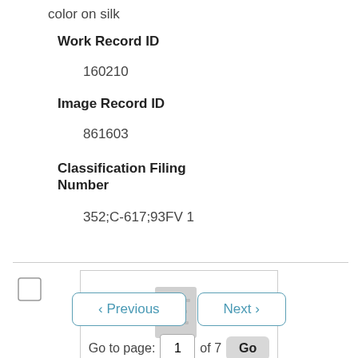color on silk
Work Record ID
160210
Image Record ID
861603
Classification Filing Number
352;C-617;93FV 1
[Figure (screenshot): Thumbnail placeholder icon showing a document/list icon in grey]
< Previous   Next >
Go to page: 1 of 7 Go